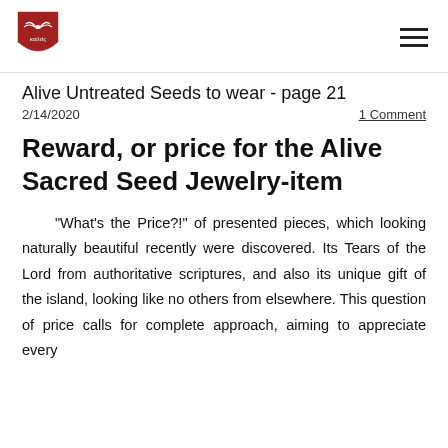[Figure (logo): Red shield-shaped logo with a white bird/wings at top and Greek text 'καλός' in white on red background]
Alive Untreated Seeds to wear - page 21
2/14/2020
1 Comment
Reward, or price for the Alive Sacred Seed Jewelry-item
"What's the Price?!" of presented pieces, which looking naturally beautiful recently were discovered. Its Tears of the Lord from authoritative scriptures, and also its unique gift of the island, looking like no others from elsewhere. This question of price calls for complete approach, aiming to appreciate every